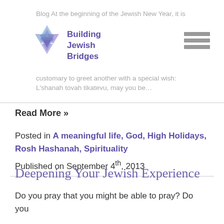Blog At the beginning of the Jewish New Year, it is customary to greet another with a special wish: L'shanah tovah tikatevu, may you be...
[Figure (logo): Building Jewish Bridges logo with Star of David in blue and purple]
Read More »
Posted in A meaningful life, God, High Holidays, Rosh Hashanah, Spirituality
Published on September 4th, 2013
Deepening Your Jewish Experience
Do you pray that you might be able to pray? Do you